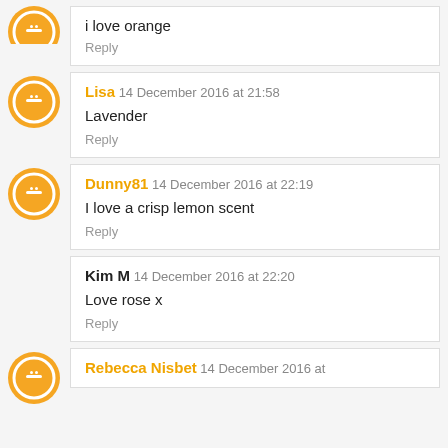i love orange
Reply
Lisa 14 December 2016 at 21:58 — Lavender — Reply
Dunny81 14 December 2016 at 22:19 — I love a crisp lemon scent — Reply
Kim M 14 December 2016 at 22:20 — Love rose x — Reply
Rebecca Nisbet 14 December 2016 at